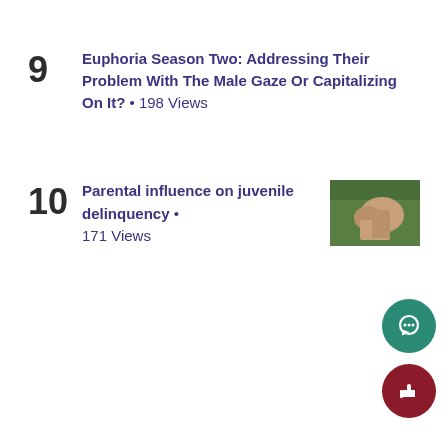9 Euphoria Season Two: Addressing Their Problem With The Male Gaze Or Capitalizing On It? • 198 Views
10 Parental influence on juvenile delinquency • 171 Views
[Figure (photo): Thumbnail image showing two people holding hands outdoors]
[Figure (other): Green circular chat/comment button icon]
[Figure (other): Dark red circular thumbs-up like button icon]